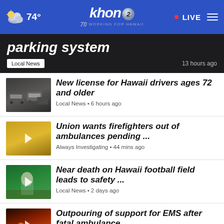74° khon2 WORKING FOR HAWAII • LIVE
parking system
Local News • 13 hours ago
New license for Hawaii drivers ages 72 and older
Local News • 6 hours ago
Union wants firefighters out of ambulances pending ...
Always Investigating • 44 mins ago
Near death on Hawaii football field leads to safety ...
Local News • 2 days ago
Outpouring of support for EMS after fatal ambulance ...
Local News • 3 hours ago